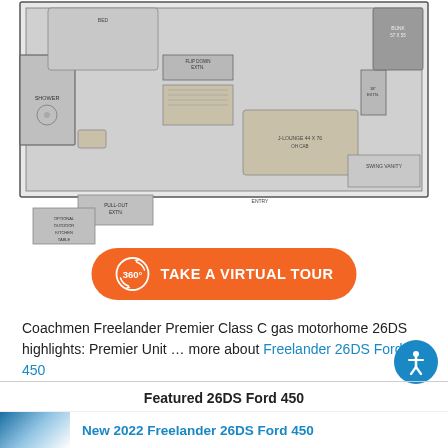[Figure (schematic): Floor plan of Coachmen Freelander 26DS motorhome showing layout with shower, pull-out extension, flip down extension, J-lounge 44x76, bunk 57x55, 19 inch extension, optional outdoor kitchen table, entry, swing vanity areas.]
TAKE A VIRTUAL TOUR (360° button)
Coachmen Freelander Premier Class C gas motorhome 26DS highlights: Premier Unit … more about Freelander 26DS Ford 450
Featured 26DS Ford 450
New 2022 Freelander 26DS Ford 450